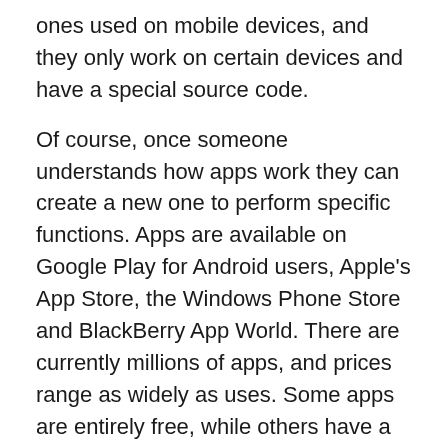ones used on mobile devices, and they only work on certain devices and have a special source code.
Of course, once someone understands how apps work they can create a new one to perform specific functions. Apps are available on Google Play for Android users, Apple’s App Store, the Windows Phone Store and BlackBerry App World. There are currently millions of apps, and prices range as widely as uses. Some apps are entirely free, while others have a recurring rate.
Apps can be used for communication, including encrypted phone calls or video phone.
Apps can be used for entertainment, providing movies, books and music.